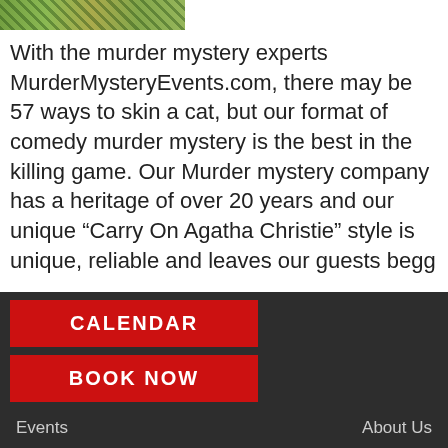[Figure (photo): Partial photo strip showing garden/plants with green and orange foliage]
With the murder mystery experts MurderMysteryEvents.com, there may be 57 ways to skin a cat, but our format of comedy murder mystery is the best in the killing game. Our Murder mystery company has a heritage of over 20 years and our unique “Carry On Agatha Christie” style is unique, reliable and leaves our guests begg , ...
1
2
CALENDAR
BOOK NOW
Events    About Us